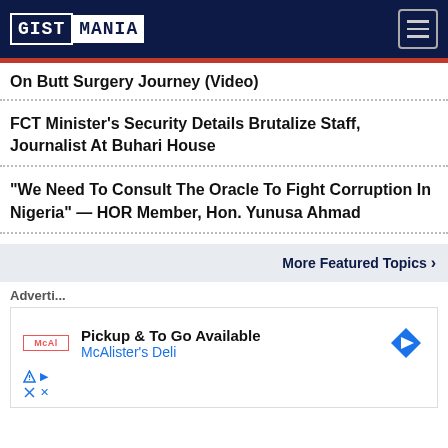GISTMANIA
On Butt Surgery Journey (Video)
FCT Minister's Security Details Brutalize Staff, Journalist At Buhari House
"We Need To Consult The Oracle To Fight Corruption In Nigeria" — HOR Member, Hon. Yunusa Ahmad
More Featured Topics ›
[Figure (screenshot): Advertisement for McAlister's Deli: Pickup & To Go Available, with McAlister's Deli logo and navigation icon]
Adverti...